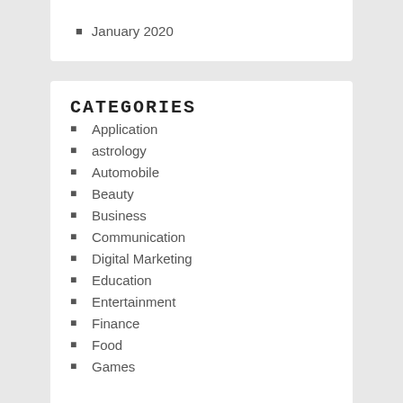January 2020
CATEGORIES
Application
astrology
Automobile
Beauty
Business
Communication
Digital Marketing
Education
Entertainment
Finance
Food
Games